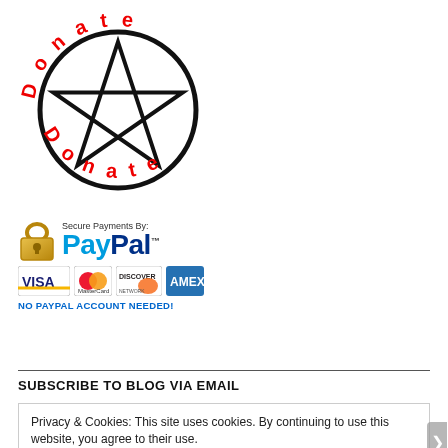[Figure (illustration): Donate logo: pentagram star inside a circle, with 'Donate' written in red letters around the top arc and 'Donate' again around the bottom arc]
[Figure (logo): PayPal secure payments logo with padlock icon, text 'Secure Payments By: PayPal™', and credit card logos (VISA, MasterCard, Discover, AmEx) with text 'NO PAYPAL ACCOUNT NEEDED!']
SUBSCRIBE TO BLOG VIA EMAIL
Privacy & Cookies: This site uses cookies. By continuing to use this website, you agree to their use.
To find out more, including how to control cookies, see here: Our Cookie Policy